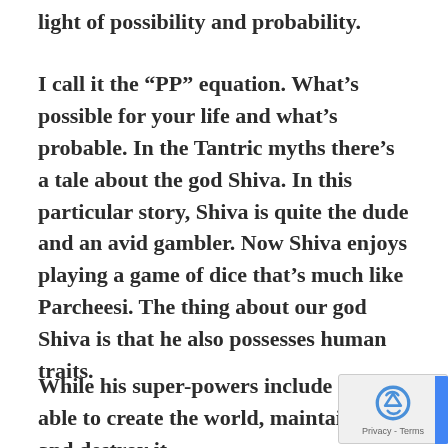light of possibility and probability.
I call it the “PP” equation. What’s possible for your life and what’s probable. In the Tantric myths there’s a tale about the god Shiva. In this particular story, Shiva is quite the dude and an avid gambler. Now Shiva enjoys playing a game of dice that’s much like Parcheesi. The thing about our god Shiva is that he also possesses human traits.
While his super-powers include being able to create the world, maintain it and destroy it,